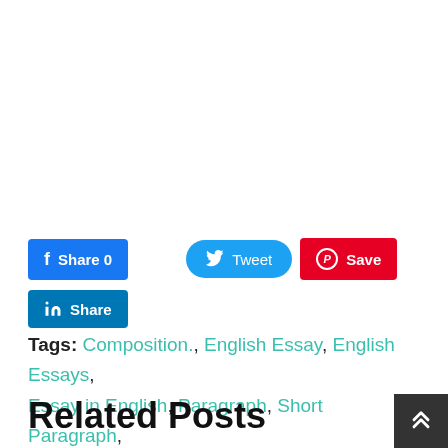[Figure (screenshot): Social sharing buttons: Facebook Share 0, Tweet, Save (Pinterest), LinkedIn Share]
Tags: Composition., English Essay, English Essays, Essay in English, Paragraph, Short Paragraph, Short Speech, Speech
Related Posts